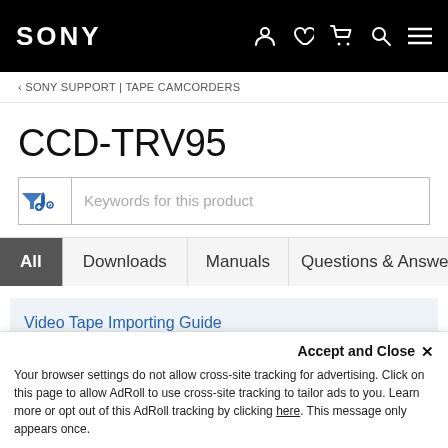SONY
< SONY SUPPORT | TAPE CAMCORDERS
CCD-TRV95
Keywords for this product
All  Downloads  Manuals  Questions & Answers
Video Tape Importing Guide
Learn more on how to transfer videos from the tape to your PC (Windows /
Accept and Close ×
Your browser settings do not allow cross-site tracking for advertising. Click on this page to allow AdRoll to use cross-site tracking to tailor ads to you. Learn more or opt out of this AdRoll tracking by clicking here. This message only appears once.